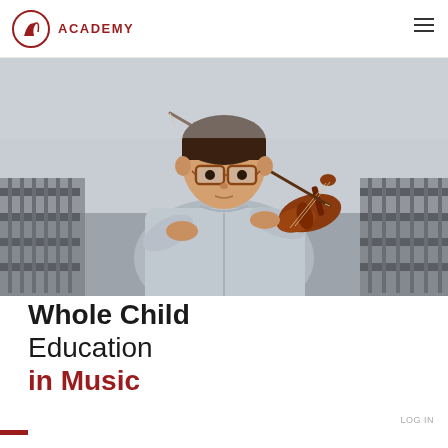ACADEMY
[Figure (photo): A young boy with glasses wearing a grey hoodie playing violin outdoors on a bridge with metal railings in the background, overcast sky.]
Whole Child Education in Music